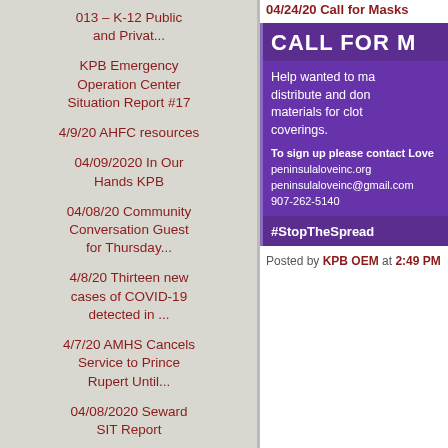013 – K-12 Public and Privat...
KPB Emergency Operation Center Situation Report #17
4/9/20 AHFC resources
04/09/2020 In Our Hands KPB
04/08/20 Community Conversation Guest for Thursday...
4/8/20 Thirteen new cases of COVID-19 detected in ...
4/7/20 AMHS Cancels Service to Prince Rupert Until...
04/08/2020 Seward SIT Report
4/8/20 KPB Emergency Operation Center Situation Re...
04/08/2020 Staying
04/24/20 Call for Masks
[Figure (infographic): Purple infographic with text 'CALL FOR M...' (CALL FOR MASKS), body text about helping to make, distribute and donate materials for cloth coverings, contact info for peninsulaloveinc.org, peninsulaloveinc@gmail.com, 907-262-5140, and hashtag #StopTheSpread]
Posted by KPB OEM at 2:49 PM